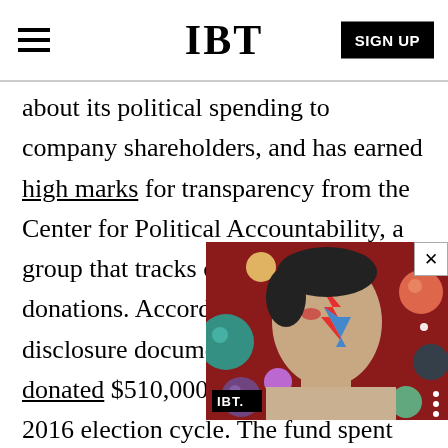IBT
about its political spending to company shareholders, and has earned high marks for transparency from the Center for Political Accountability, a group that tracks corporate political donations. According to those disclosure documents, Anadarko donated $510,000 to CELF during the 2016 election cycle. The fund spent roughly $711,000 during th[e cycle with] money going to last-minut[e efforts to help] Republicans preserve a Se[nate rule that has] been used to block legislation regulating the oil and gas industry.
[Figure (screenshot): Video thumbnail overlay showing a David Bowie album cover art with colorful spheres on a red background, with IBT logo label at bottom left and three dots menu at bottom right. A close button (X) appears at top right of the overlay.]